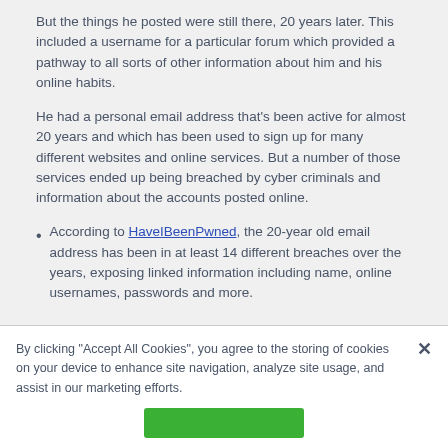But the things he posted were still there, 20 years later. This included a username for a particular forum which provided a pathway to all sorts of other information about him and his online habits.
He had a personal email address that's been active for almost 20 years and which has been used to sign up for many different websites and online services. But a number of those services ended up being breached by cyber criminals and information about the accounts posted online.
According to HaveIBeenPwned, the 20-year old email address has been in at least 14 different breaches over the years, exposing linked information including name, online usernames, passwords and more.
By clicking “Accept All Cookies”, you agree to the storing of cookies on your device to enhance site navigation, analyze site usage, and assist in our marketing efforts.